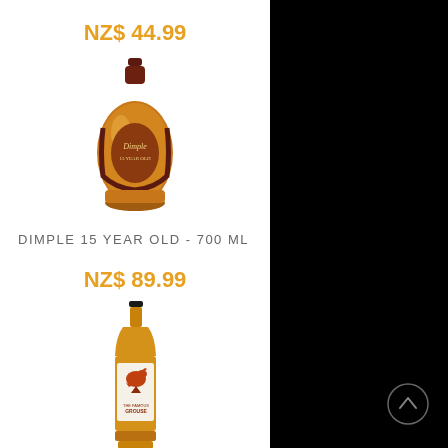NZ$ 44.99
[Figure (photo): Dimple 15 Year Old Scotch Whisky bottle, 700ml, oval-shaped amber bottle with dark red label and gold detailing]
DIMPLE 15 YEAR OLD - 700 ML
NZ$ 89.99
[Figure (photo): Famous Grouse Scotch Whisky bottle, 1 litre, standard bottle shape with white and gold label showing a grouse bird]
FAMOUS GROUSE - 1 LITRE